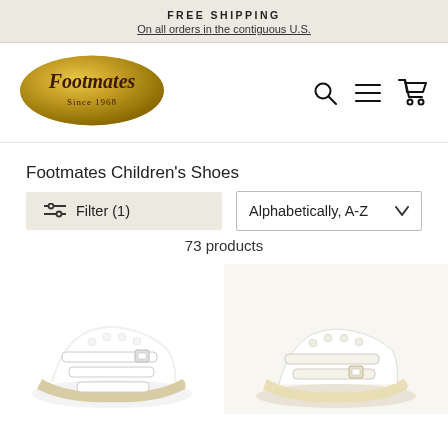FREE SHIPPING
On all orders in the contiguous U.S.
[Figure (logo): Footmates Since 1968 gold oval logo]
Footmates Children's Shoes
Filter (1)
Alphabetically, A-Z
73 products
[Figure (photo): White children's sandal with buckle strap]
[Figure (photo): White/ivory children's sandal with buckle strap]